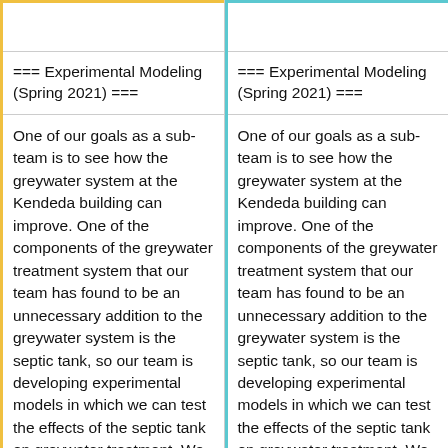=== Experimental Modeling (Spring 2021) ===
One of our goals as a sub-team is to see how the greywater system at the Kendeda building can improve. One of the components of the greywater treatment system that our team has found to be an unnecessary addition to the greywater system is the septic tank, so our team is developing experimental models in which we can test the effects of the septic tank on greywater treatment. We set up three models that
=== Experimental Modeling (Spring 2021) ===
One of our goals as a sub-team is to see how the greywater system at the Kendeda building can improve. One of the components of the greywater treatment system that our team has found to be an unnecessary addition to the greywater system is the septic tank, so our team is developing experimental models in which we can test the effects of the septic tank on greywater treatment. We set up three models that